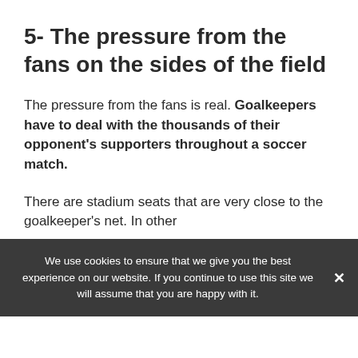5- The pressure from the fans on the sides of the field
The pressure from the fans is real. Goalkeepers have to deal with the thousands of their opponent's supporters throughout a soccer match.
There are stadium seats that are very close to the goalkeeper's net. In other
We use cookies to ensure that we give you the best experience on our website. If you continue to use this site we will assume that you are happy with it.